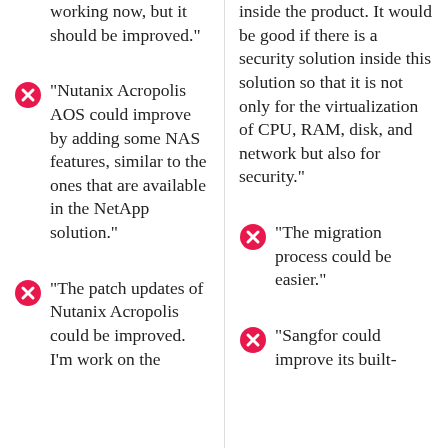working now, but it should be improved."
"Nutanix Acropolis AOS could improve by adding some NAS features, similar to the ones that are available in the NetApp solution."
"The patch updates of Nutanix Acropolis could be improved. I'm work on the
inside the product. It would be good if there is a security solution inside this solution so that it is not only for the virtualization of CPU, RAM, disk, and network but also for security."
"The migration process could be easier."
"Sangfor could improve its built-